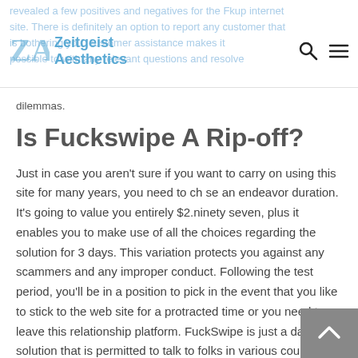Zeitgeist Aesthetics
revealed a few positives and negatives for the Fkup internet site. There is definitely an option to report any customer that is bothering you. customer assistance makes it possible to with any relevant questions and resolve dilemmas.
Is Fuckswipe A Rip-off?
Just in case you aren't sure if you want to carry on using this site for many years, you need to ch se an endeavor duration. It's going to value you entirely $2.ninety seven, plus it enables you to make use of all the choices regarding the solution for 3 days. This variation protects you against any scammers and any improper conduct. Following the test period, you'll be in a position to pick in the event that you like to stick to the web site for a protracted time or you need to leave this relationship platform. FuckSwipe is just a dating solution that is permitted to talk to folks in various countries. Being nicely